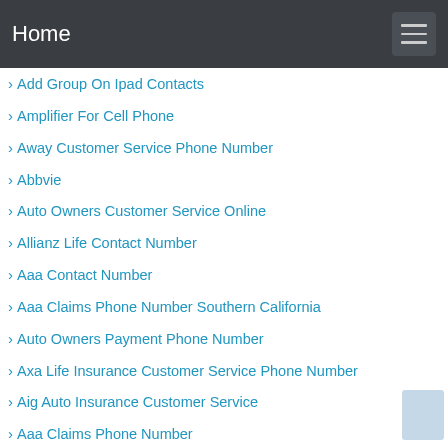Home
Add Group On Ipad Contacts
Amplifier For Cell Phone
Away Customer Service Phone Number
Abbvie
Auto Owners Customer Service Online
Allianz Life Contact Number
Aaa Contact Number
Aaa Claims Phone Number Southern California
Auto Owners Payment Phone Number
Axa Life Insurance Customer Service Phone Number
Aig Auto Insurance Customer Service
Aaa Claims Phone Number